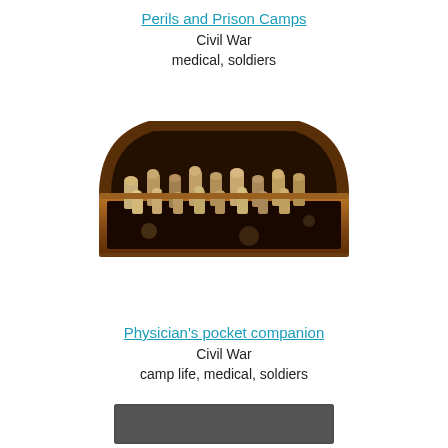Perils and Prison Camps
Civil War
medical, soldiers
[Figure (photo): An open rectangular wooden/leather box containing multiple small glass vials or bottles with cork stoppers arranged in rows — a Civil War era physician's pocket companion medicine case.]
Physician's pocket companion
Civil War
camp life, medical, soldiers
[Figure (photo): Partial view of a dark gray/black rectangular flat object (appears to be a book or case) visible at the bottom of the page.]